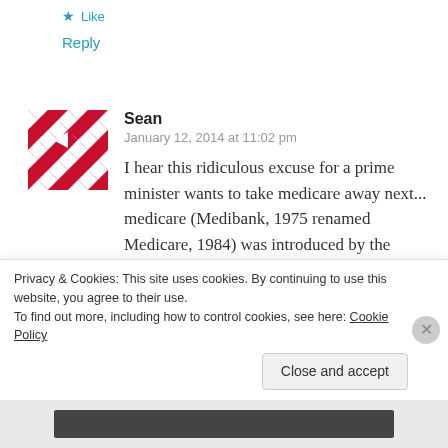★ Like
Reply
[Figure (illustration): Red and white geometric quilt-pattern avatar icon]
Sean
January 12, 2014 at 11:02 pm
I hear this ridiculous excuse for a prime minister wants to take medicare away next... medicare (Medibank, 1975 renamed Medicare, 1984) was introduced by the Whitlam government to ensure every Australian has access to
Privacy & Cookies: This site uses cookies. By continuing to use this website, you agree to their use.
To find out more, including how to control cookies, see here: Cookie Policy
Close and accept